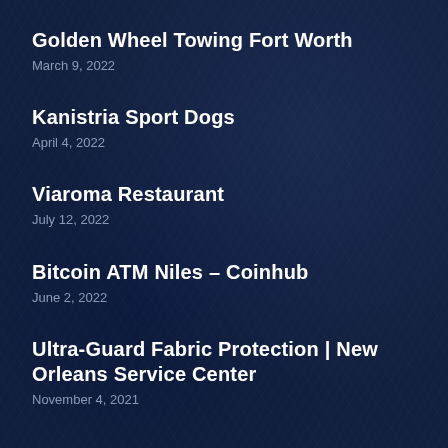Golden Wheel Towing Fort Worth
March 9, 2022
Kanistria Sport Dogs
April 4, 2022
Viaroma Restaurant
July 12, 2022
Bitcoin ATM Niles – Coinhub
June 2, 2022
Ultra-Guard Fabric Protection | New Orleans Service Center
November 4, 2021